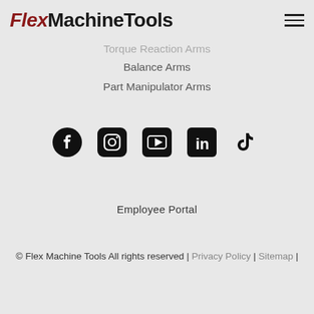Flex MachineTools
Torque Reaction Arms
Balance Arms
Part Manipulator Arms
[Figure (logo): Social media icons row: Facebook, Instagram, YouTube, LinkedIn, TikTok]
Employee Portal
© Flex Machine Tools All rights reserved | Privacy Policy | Sitemap |